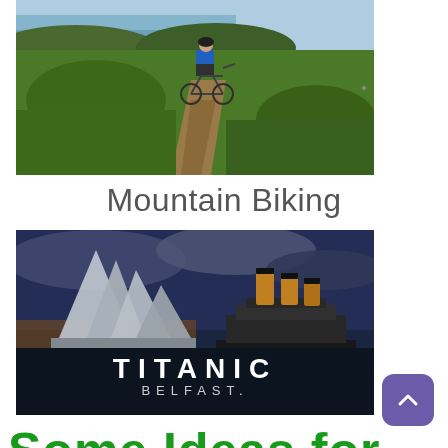[Figure (photo): Mountain biker riding along a narrow dirt trail on a hillside with green grass, shrubs, and a coastal sea view in the background under a light sky.]
Mountain Biking
[Figure (photo): Titanic Belfast promotional image showing the angular silver Titanic Belfast building alongside the RMS Titanic ship against a dramatic cloudy sky, with 'TITANIC BELFAST' text overlay.]
Some Ideas for